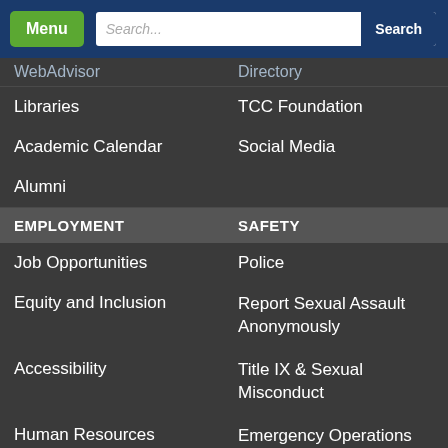[Figure (screenshot): Navigation bar with green Menu button, search field showing 'Search...' placeholder, and blue Search button]
WebAdvisor
Directory
Libraries
TCC Foundation
Academic Calendar
Social Media
Alumni
EMPLOYMENT
SAFETY
Job Opportunities
Police
Equity and Inclusion
Report Sexual Assault Anonymously
Accessibility
Title IX & Sexual Misconduct
Human Resources
Emergency Operations Center
Emergency Info
Mental Health Resources